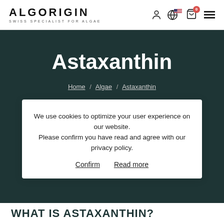ALGORIGIN — SWISS SPECIALIST FOR ALGAE
Astaxanthin
Home / Algae / Astaxanthin
We use cookies to optimize your user experience on our website.
Please confirm you have read and agree with our privacy policy.
Confirm   Read more
WHAT IS ASTAXANTHIN?